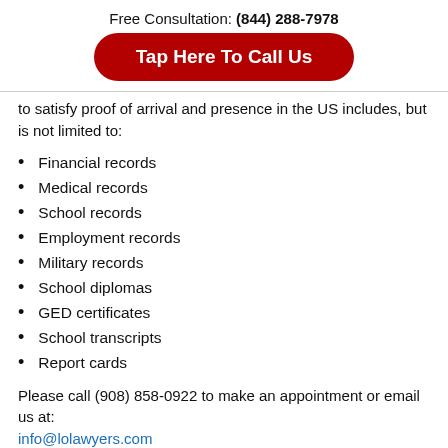Free Consultation: (844) 288-7978
Tap Here To Call Us
to satisfy proof of arrival and presence in the US includes, but is not limited to:
Financial records
Medical records
School records
Employment records
Military records
School diplomas
GED certificates
School transcripts
Report cards
Please call (908) 858-0922 to make an appointment or email us at: info@lolawyers.com